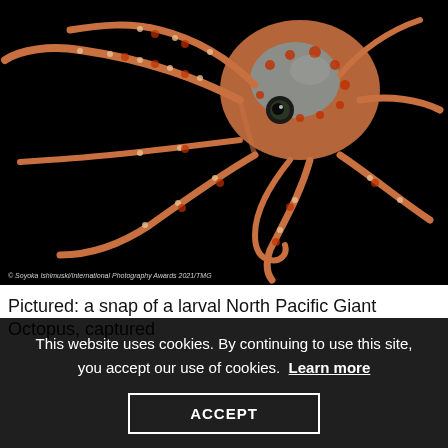[Figure (photo): Close-up photograph of a larval North Pacific Giant Octopus against a black background. The octopus has an orange and blue-spotted mantle with long tentacles covered in suckers and orange-red spots. Photo credit: © Soyoka Ishimuski/International Photography Awards 2021/TMG]
Pictured: a snap of a larval North Pacific Giant Octopus, captured
This website uses cookies. By continuing to use this site, you accept our use of cookies.  Learn more
ACCEPT